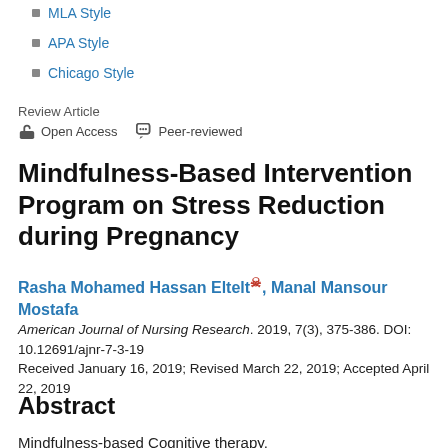MLA Style
APA Style
Chicago Style
Review Article
Open Access   Peer-reviewed
Mindfulness-Based Intervention Program on Stress Reduction during Pregnancy
Rasha Mohamed Hassan Eltelt, Manal Mansour Mostafa
American Journal of Nursing Research. 2019, 7(3), 375-386. DOI: 10.12691/ajnr-7-3-19
Received January 16, 2019; Revised March 22, 2019; Accepted April 22, 2019
Abstract
Mindfulness-based Cognitive therapy,